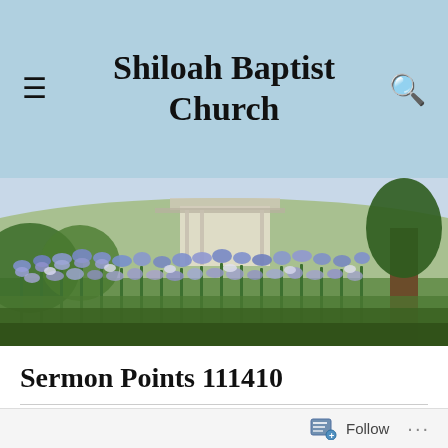Shiloah Baptist Church
[Figure (photo): Outdoor garden scene with tall purple-blue iris flowers in bloom, a building with a covered porch in the background, trees and green foliage, bright sunny day.]
Sermon Points 111410
ON NOVEMBER 18, 2010 / BY TIM A.
[Figure (other): Follow button widget at bottom of page with document/follow icon and ellipsis menu.]